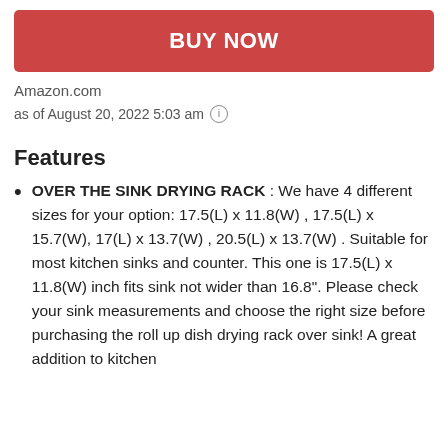BUY NOW
Amazon.com
as of August 20, 2022 5:03 am ℹ
Features
OVER THE SINK DRYING RACK : We have 4 different sizes for your option: 17.5(L) x 11.8(W) , 17.5(L) x 15.7(W), 17(L) x 13.7(W) , 20.5(L) x 13.7(W) . Suitable for most kitchen sinks and counter. This one is 17.5(L) x 11.8(W) inch fits sink not wider than 16.8". Please check your sink measurements and choose the right size before purchasing the roll up dish drying rack over sink! A great addition to kitchen